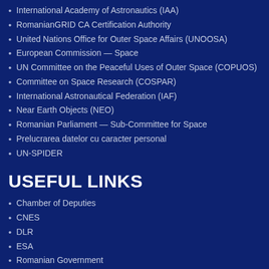International Academy of Astronautics (IAA)
RomanianGRID CA Certification Authority
United Nations Office for Outer Space Affairs (UNOOSA)
European Commission — Space
UN Committee on the Peaceful Uses of Outer Space (COPUOS)
Committee on Space Research (COSPAR)
International Astronautical Federation (IAF)
Near Earth Objects (NEO)
Romanian Parliament — Sub-Committee for Space
Prelucrarea datelor cu caracter personal
UN-SPIDER
USEFUL LINKS
Chamber of Deputies
CNES
DLR
ESA
Romanian Government
Ministry of External Affairs
Ministry of National Education
NASA
Romanian Presidency
Romanian Senate